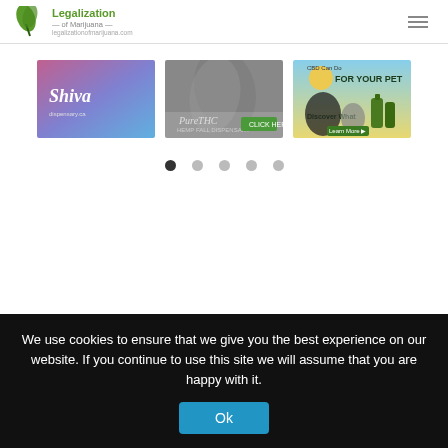Legalization of Marijuana
[Figure (screenshot): Ad banner: Shiva cannabis product with purple/blue gradient background]
[Figure (screenshot): Ad banner: PureTHC brand with grayscale cannabis leaf background]
[Figure (screenshot): Ad banner: CBD oil for pets with dog and cat image and product bottles]
[Figure (other): Carousel pagination dots: 5 dots, first one dark/active]
We use cookies to ensure that we give you the best experience on our website. If you continue to use this site we will assume that you are happy with it.
Ok